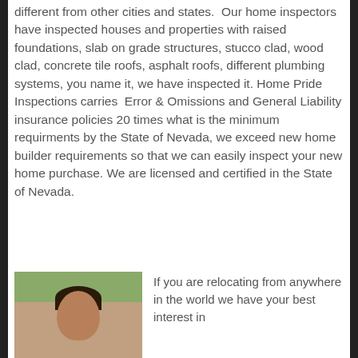different from other cities and states. Our home inspectors have inspected houses and properties with raised foundations, slab on grade structures, stucco clad, wood clad, concrete tile roofs, asphalt roofs, different plumbing systems, you name it, we have inspected it. Home Pride Inspections carries Error & Omissions and General Liability insurance policies 20 times what is the minimum requirments by the State of Nevada, we exceed new home builder requirements so that we can easily inspect your new home purchase. We are licensed and certified in the State of Nevada.
[Figure (photo): Photo of a person with dark hair against a background with greenery]
If you are relocating from anywhere in the world we have your best interest in